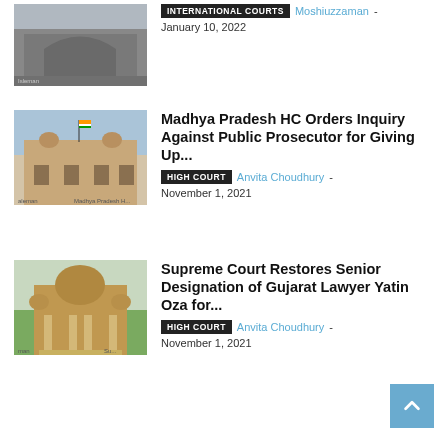[Figure (photo): Partial article image at top - appears to be a court or public building]
INTERNATIONAL COURTS
Moshiuzzaman
January 10, 2022
[Figure (photo): Madhya Pradesh High Court building with Indian flag]
Madhya Pradesh HC Orders Inquiry Against Public Prosecutor for Giving Up...
HIGH COURT
Anvita Choudhury
November 1, 2021
[Figure (photo): Supreme Court of India building]
Supreme Court Restores Senior Designation of Gujarat Lawyer Yatin Oza for...
HIGH COURT
Anvita Choudhury
November 1, 2021